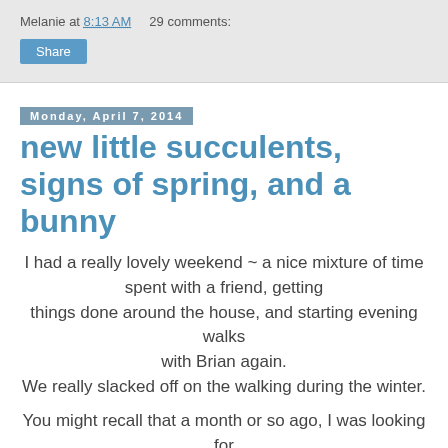Melanie at 8:13 AM    29 comments:
Share
Monday, April 7, 2014
new little succulents, signs of spring, and a bunny
I had a really lovely weekend ~ a nice mixture of time spent with a friend, getting things done around the house, and starting evening walks with Brian again. We really slacked off on the walking during the winter.

You might recall that a month or so ago, I was looking for succulents at Home Depot and they didn't have any. Well, the other evening we were at HD and while hubby was looking at boring stuff (gel stain for the front door and register vents), I told him